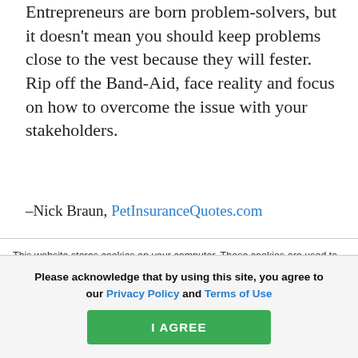Entrepreneurs are born problem-solvers, but it doesn't mean you should keep problems close to the vest because they will fester. Rip off the Band-Aid, face reality and focus on how to overcome the issue with your stakeholders.
—Nick Braun, PetInsuranceQuotes.com
9. Smile
This website stores cookies on your computer. These cookies are used to improve your website experience and provide more personalized services to you, both on this website and through other media. To find out more about the cookies we use, see our Privacy Policy.
We won't track your information when you visit our site. But in order to comply with your
Please acknowledge that by using this site, you agree to our Privacy Policy and Terms of Use
I AGREE